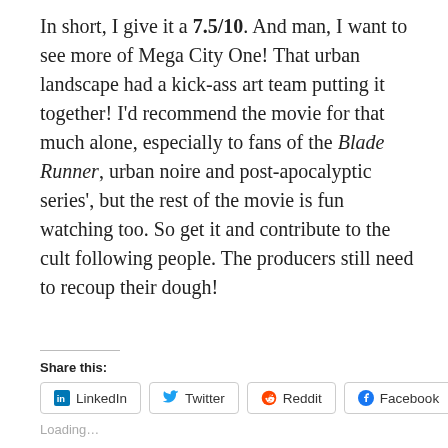In short, I give it a 7.5/10. And man, I want to see more of Mega City One! That urban landscape had a kick-ass art team putting it together! I'd recommend the movie for that much alone, especially to fans of the Blade Runner, urban noire and post-apocalyptic series', but the rest of the movie is fun watching too. So get it and contribute to the cult following people. The producers still need to recoup their dough!
Share this:
LinkedIn  Twitter  Reddit  Facebook
Loading...